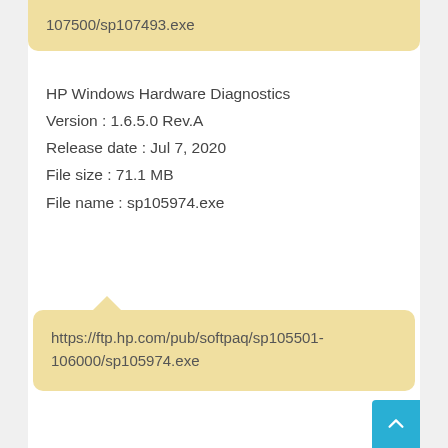107500/sp107493.exe
HP Windows Hardware Diagnostics
Version : 1.6.5.0 Rev.A
Release date : Jul 7, 2020
File size : 71.1 MB
File name : sp105974.exe
https://ftp.hp.com/pub/softpaq/sp105501-106000/sp105974.exe
HP Display Control
Version : 4.4.64.0 Rev.A
Release date : Sep 15, 2020
File size : 33.7 MB
File name : sp110085.exe